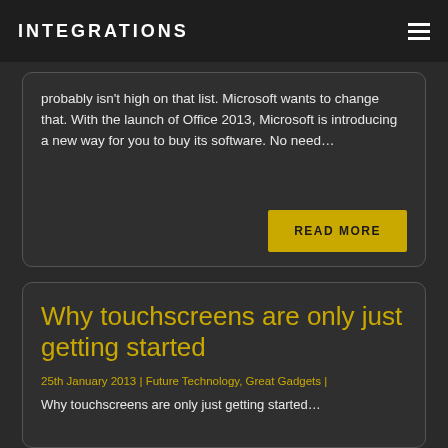INTEGRATIONS
probably isn't high on that list. Microsoft wants to change that. With the launch of Office 2013, Microsoft is introducing a new way for you to buy its software. No need...
READ MORE
Why touchscreens are only just getting started
25th January 2013 | Future Technology, Great Gadgets |
Why touchscreens are only just getting started...